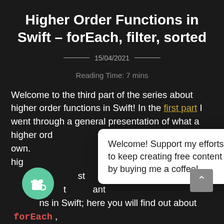Higher Order Functions in Swift – forEach, filter, sorted
15/04/2021
Reading Time: 7 mins
Welcome to the third part of the series about higher order functions in Swift! In the first part I went through a general presentation of what a higher ord[er function is and how to cre]ate your own. [In the second part I went th]ree related hig[her order functions:] compact[Map, flatMap and reduce. In the fir]st [post I]'m goi[ng to focus on functions tha]t [you w]ant [to use when you have collec]tions in Swift; here you will find out about forEach ,
Welcome! Support my efforts to keep creating free content by buying me a coffee!